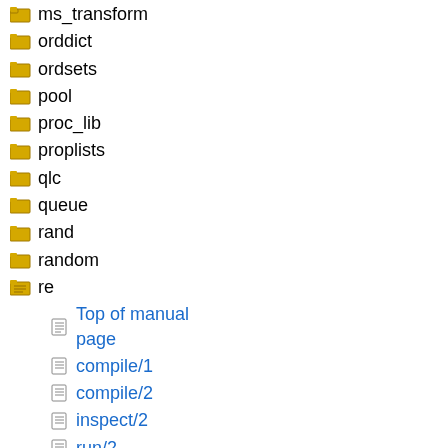ms_transform
orddict
ordsets
pool
proc_lib
proplists
qlc
queue
rand
random
re
Top of manual page
compile/1
compile/2
inspect/2
run/2
run/3
replace/3
replace/4
list of all the names in alphabetical order was given. The list of all names can also be retrieved with the inspect function first. Only the